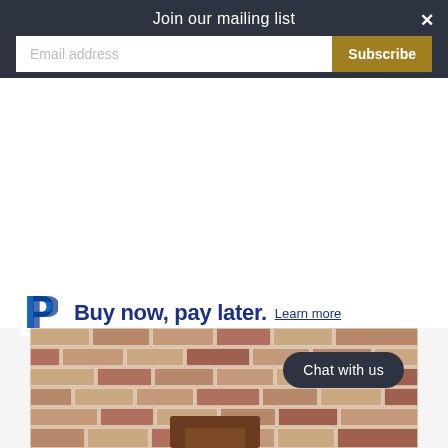Join our mailing list
Email address
Subscribe
Buy now, pay later. Learn more
[Figure (screenshot): Brick wall background with a brown wooden furniture piece visible at the bottom, and a 'Chat with us' button overlay]
Chat with us